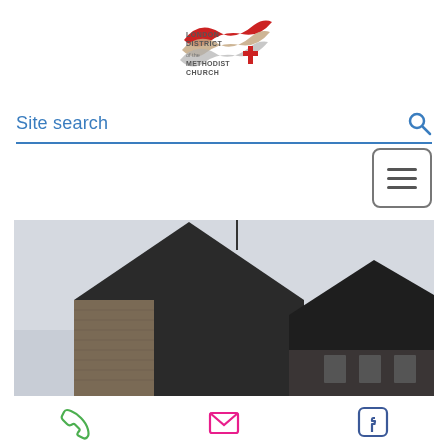[Figure (logo): London District of the Methodist Church logo with red wave and cross]
Site search
[Figure (photo): Exterior photo of a brick church building with peaked roof against overcast sky]
[Figure (infographic): Footer icons: phone (green), email (magenta/pink), Facebook (blue)]